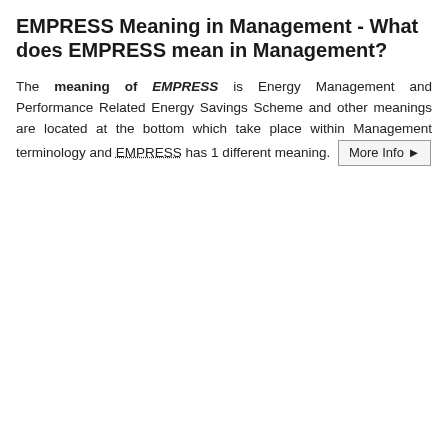EMPRESS Meaning in Management - What does EMPRESS mean in Management?
The meaning of EMPRESS is Energy Management and Performance Related Energy Savings Scheme and other meanings are located at the bottom which take place within Management terminology and EMPRESS has 1 different meaning. More Info ▶